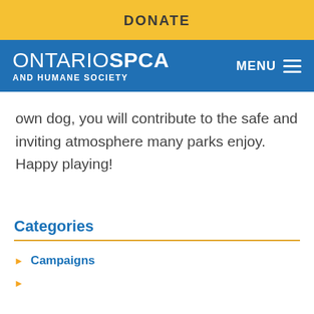DONATE
[Figure (logo): Ontario SPCA and Humane Society logo with MENU button on blue navigation bar]
own dog, you will contribute to the safe and inviting atmosphere many parks enjoy. Happy playing!
Categories
Campaigns